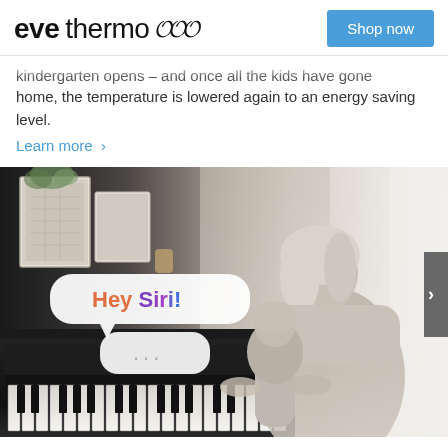eve thermo ))) Shop now
kindergarten opens – and once all the kids have gone home, the temperature is lowered again to an energy saving level.
Learn more >
[Figure (photo): Elderly woman and young child playing piano together, with 'Hey Siri!' and '...' speech bubbles overlaid on the image]